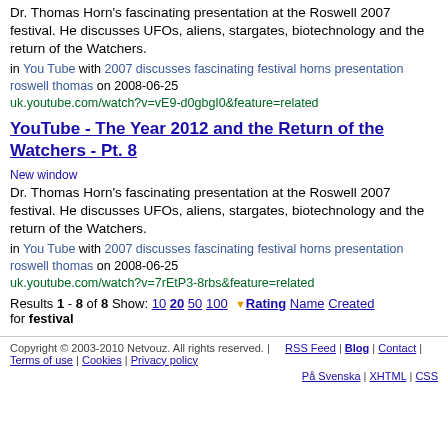Dr. Thomas Horn's fascinating presentation at the Roswell 2007 festival. He discusses UFOs, aliens, stargates, biotechnology and the return of the Watchers.
in You Tube with 2007 discusses fascinating festival horns presentation roswell thomas on 2008-06-25
uk.youtube.com/watch?v=vE9-d0gbgI0&feature=related
YouTube - The Year 2012 and the Return of the Watchers - Pt. 8
Dr. Thomas Horn's fascinating presentation at the Roswell 2007 festival. He discusses UFOs, aliens, stargates, biotechnology and the return of the Watchers.
in You Tube with 2007 discusses fascinating festival horns presentation roswell thomas on 2008-06-25
uk.youtube.com/watch?v=7rEtP3-8rbs&feature=related
Results 1 - 8 of 8 Show: 10 20 50 100 ▼Rating Name Created for festival
Copyright © 2003-2010 Netvouz. All rights reserved. | RSS Feed | Blog | Contact | Terms of use | Cookies | Privacy policy
På Svenska | XHTML | CSS